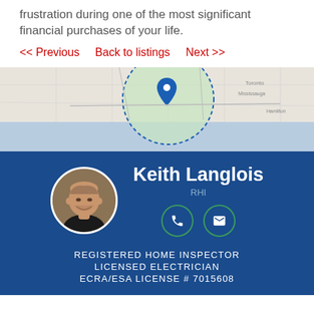frustration during one of the most significant financial purchases of your life.
<< Previous   Back to listings   Next >>
[Figure (map): Map showing service area with a dotted circle around greater Toronto/Mississauga area, with a blue pin marker]
Keith Langlois
RHI
REGISTERED HOME INSPECTOR
LICENSED ELECTRICIAN
ECRA/ESA LICENSE # 7015608